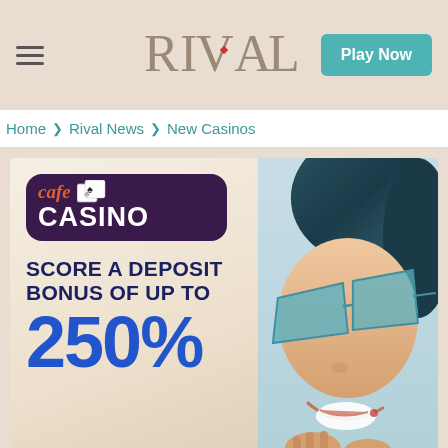RIVAL | Play Now
Home > Rival News > New Casinos
[Figure (photo): Cafe Casino promotional banner showing the Cafe Casino logo with playing card icons, text 'SCORE A DEPOSIT BONUS OF UP TO 250%', and a woman wearing blue geometric sunglasses smiling on a light blue background.]